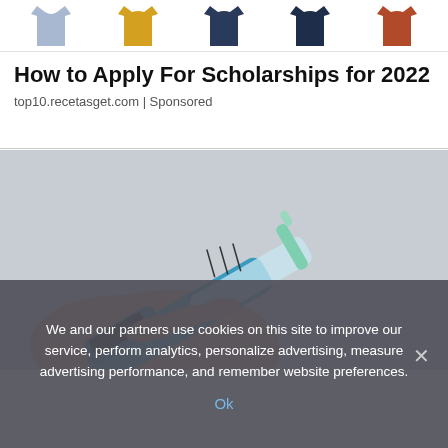[Figure (illustration): Top banner showing five clothing items: light blue shirt, yellow shirt, dark blue jacket, dark blue top, orange/rust shirt]
How to Apply For Scholarships for 2022
top10.recetasget.com | Sponsored
[Figure (photo): A hand holding a blue insulin pen/injector device with a clear cartridge showing measurement markings and a green needle cap]
We and our partners use cookies on this site to improve our service, perform analytics, personalize advertising, measure advertising performance, and remember website preferences.
Ok